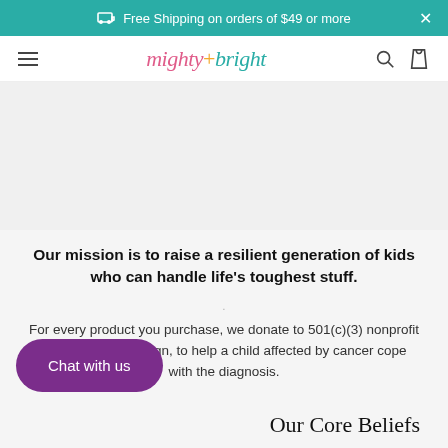Free Shipping on orders of $49 or more
mighty+bright (logo navigation bar)
[Figure (photo): Gray content/hero image area placeholder]
Our mission is to raise a resilient generation of kids who can handle life’s toughest stuff.
For every product you purchase, we donate to 501(c)(3) nonprofit Resilience Campaign, to help a child affected by cancer cope with the diagnosis.
Chat with us
Our Core Beliefs